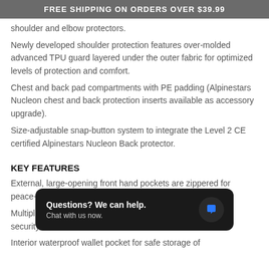FREE SHIPPING ON ORDERS OVER $39.99
shoulder and elbow protectors.
Newly developed shoulder protection features over-molded advanced TPU guard layered under the outer fabric for optimized levels of protection and comfort.
Chest and back pad compartments with PE padding (Alpinestars Nucleon chest and back protection inserts available as accessory upgrade).
Size-adjustable snap-button system to integrate the Level 2 CE certified Alpinestars Nucleon Back protector.
KEY FEATURES
External, large-opening front hand pockets are zippered for peace-of-mind closure.
Multiple internal c... velcro for additional security...
Interior waterproof wallet pocket for safe storage of...
[Figure (other): Chat widget popup: 'Questions? We can help. Chat with us now.' with blue speech bubble icon on dark background.]